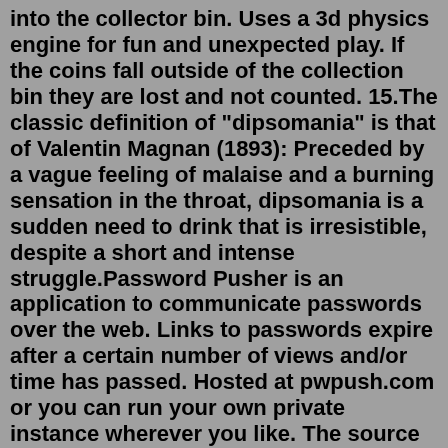into the collector bin. Uses a 3d physics engine for fun and unexpected play. If the coins fall outside of the collection bin they are lost and not counted. 15.The classic definition of "dipsomania" is that of Valentin Magnan (1893): Preceded by a vague feeling of malaise and a burning sensation in the throat, dipsomania is a sudden need to drink that is irresistible, despite a short and intense struggle.Password Pusher is an application to communicate passwords over the web. Links to passwords expire after a certain number of views and/or time has passed. Hosted at pwpush.com or you can run your own private instance wherever you like. The source code is on Github . It's opensource and free for anyone to use, review or modify. I was positive and love all the variety of games that slotomania has. But, Do not appreciate dishonesty and B.S. or being ripped off refer to INC20408844 issue and everything is posted on complaintsboard.com, ripoff.com etc. Oh, and your company needs to be honourable and pay me my